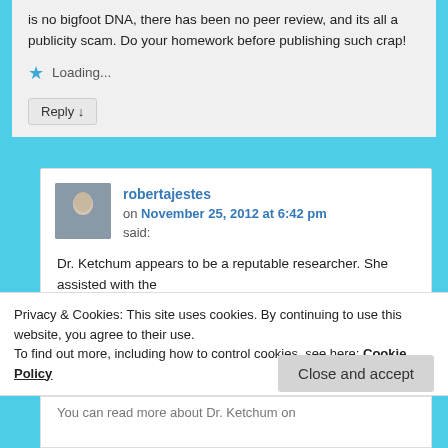is no bigfoot DNA, there has been no peer review, and its all a publicity scam. Do your homework before publishing such crap!
Loading...
Reply ↓
robertajestes
on November 25, 2012 at 6:42 pm
said:
Dr. Ketchum appears to be a reputable researcher. She assisted with the
Privacy & Cookies: This site uses cookies. By continuing to use this website, you agree to their use.
To find out more, including how to control cookies, see here: Cookie Policy
Close and accept
You can read more about Dr. Ketchum on